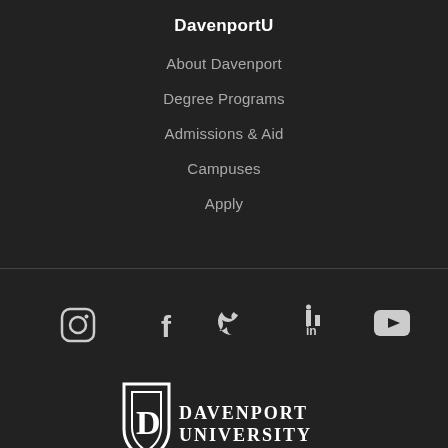DavenportU
About Davenport
Degree Programs
Admissions & Aid
Campuses
Apply
[Figure (other): Social media icons row: Instagram, Facebook, Twitter, LinkedIn, YouTube]
[Figure (logo): Davenport University shield logo with text DAVENPORT UNIVERSITY]